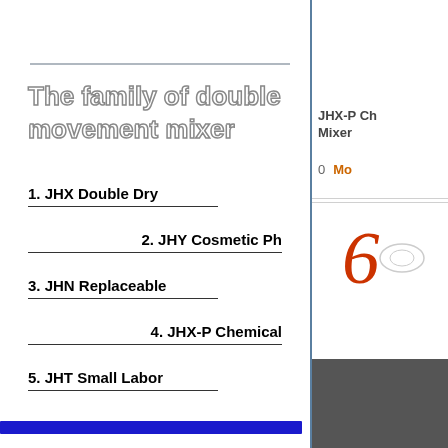The family of double movement mixer
1. JHX Double Dry
2. JHY Cosmetic Ph
3. JHN Replaceable
4. JHX-P Chemical
5. JHT Small Labor
JHX-P Ch Mixer
0  Mo